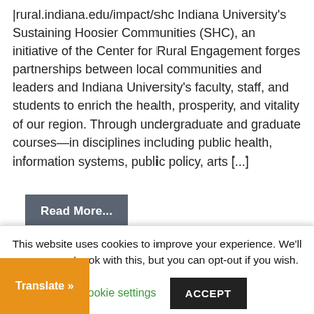|rural.indiana.edu/impact/shc Indiana University's Sustaining Hoosier Communities (SHC), an initiative of the Center for Rural Engagement forges partnerships between local communities and leaders and Indiana University's faculty, staff, and students to enrich the health, prosperity, and vitality of our region. Through undergraduate and graduate courses—in disciplines including public health, information systems, public policy, arts [...]
Read More...
Arizona State
This website uses cookies to improve your experience. We'll assume you're ok with this, but you can opt-out if you wish.
Cookie settings
ACCEPT
Translate »